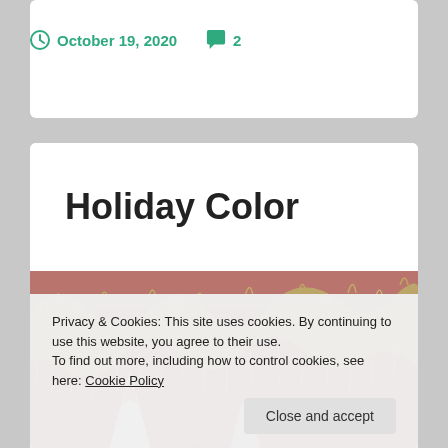October 19, 2020  2
Holiday Color
[Figure (photo): Photo of gold tinsel garland draped over a red holiday card featuring white Christmas tree silhouettes and snowflakes.]
Privacy & Cookies: This site uses cookies. By continuing to use this website, you agree to their use.
To find out more, including how to control cookies, see here: Cookie Policy
Close and accept